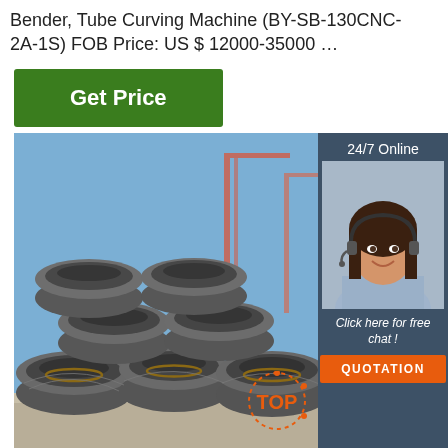Bender, Tube Curving Machine (BY-SB-130CNC-2A-1S) FOB Price: US $ 12000-35000 …
[Figure (other): Green 'Get Price' button]
[Figure (photo): Stack of steel wire rod coils outdoors with construction cranes in background]
[Figure (other): Sidebar widget: '24/7 Online' label, customer service agent photo, 'Click here for free chat!' text, orange QUOTATION button, dark blue background]
[Figure (logo): Orange 'TOP' badge/logo in bottom right corner]